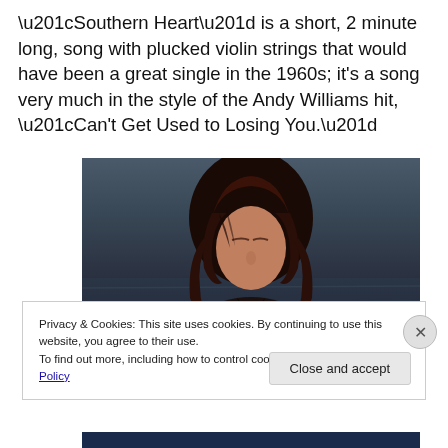“Southern Heart” is a short, 2 minute long, song with plucked violin strings that would have been a great single in the 1960s; it’s a song very much in the style of the Andy Williams hit, “Can’t Get Used to Losing You.”
[Figure (photo): Portrait photo of a woman with dark reddish-brown hair, wearing a dark jacket, looking downward, with a dark water/sky background]
Privacy & Cookies: This site uses cookies. By continuing to use this website, you agree to their use.
To find out more, including how to control cookies, see here: Cookie Policy
Close and accept